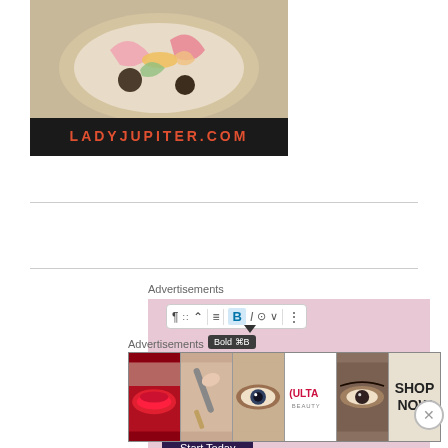[Figure (photo): Food photo showing a bowl with seafood and vegetables, ladyjupiter.com banner at bottom]
Advertisements
[Figure (screenshot): WordPress block editor toolbar showing Bold, Italic, Link buttons with Bold XS tooltip. Pink ad background showing 'Customize everything on your site with the new Site Editor.' with Start Today button.]
Advertisements
[Figure (photo): Ulta Beauty advertisement strip showing makeup/beauty images with SHOP NOW text]